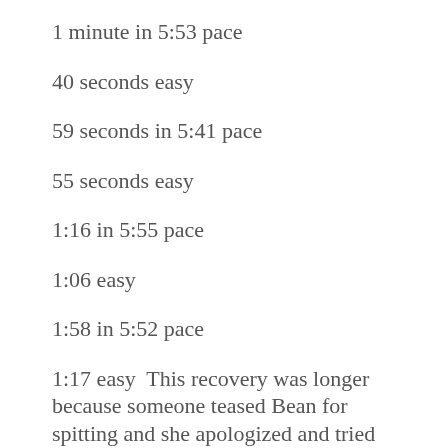1 minute in 5:53 pace
40 seconds easy
59 seconds in 5:41 pace
55 seconds easy
1:16 in 5:55 pace
1:06 easy
1:58 in 5:52 pace
1:17 easy  This recovery was longer because someone teased Bean for spitting and she apologized and tried to tell us she